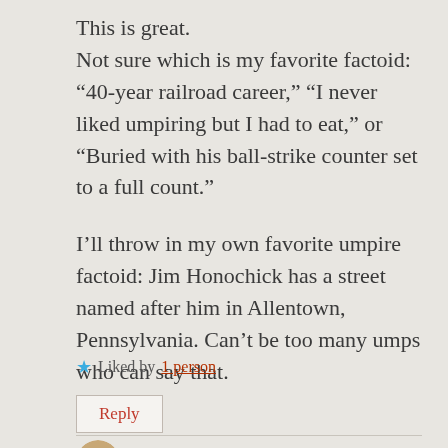This is great.
Not sure which is my favorite factoid: “40-year railroad career,” “I never liked umpiring but I had to eat,” or “Buried with his ball-strike counter set to a full count.”
I’ll throw in my own favorite umpire factoid: Jim Honochick has a street named after him in Allentown, Pennsylvania. Can’t be too many umps who can say that.
★ Liked by 1 person
Reply